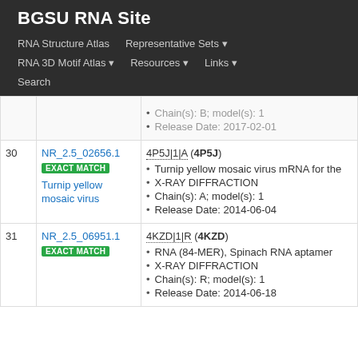BGSU RNA Site
RNA Structure Atlas | Representative Sets | RNA 3D Motif Atlas | Resources | Links | Search
| # | ID | Info |
| --- | --- | --- |
|  |  | Chain(s): B; model(s): 1
Release Date: 2017-02-01 |
| 30 | NR_2.5_02656.1 EXACT MATCH Turnip yellow mosaic virus | 4P5J|1|A (4P5J)
Turnip yellow mosaic virus mRNA for the
X-RAY DIFFRACTION
Chain(s): A; model(s): 1
Release Date: 2014-06-04 |
| 31 | NR_2.5_06951.1 EXACT MATCH | 4KZD|1|R (4KZD)
RNA (84-MER), Spinach RNA aptamer
X-RAY DIFFRACTION
Chain(s): R; model(s): 1
Release Date: 2014-06-18 |